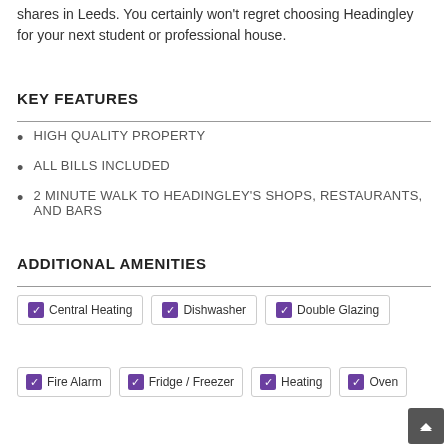shares in Leeds. You certainly won't regret choosing Headingley for your next student or professional house.
KEY FEATURES
HIGH QUALITY PROPERTY
ALL BILLS INCLUDED
2 MINUTE WALK TO HEADINGLEY'S SHOPS, RESTAURANTS, AND BARS
ADDITIONAL AMENITIES
Central Heating
Dishwasher
Double Glazing
Fire Alarm
Fridge / Freezer
Heating
Oven